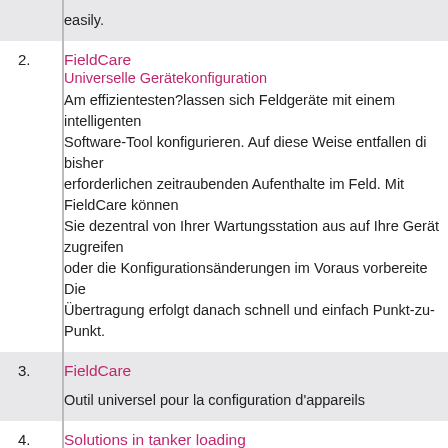easily.
FieldCare
Universelle Gerätekonfiguration
Am effizientesten?lassen sich Feldgeräte mit einem intelligenten Software-Tool konfigurieren. Auf diese Weise entfallen di bisher erforderlichen zeitraubenden Aufenthalte im Feld. Mit FieldCare können Sie dezentral von Ihrer Wartungsstation aus auf Ihre Gerät zugreifen oder die Konfigurationsänderungen im Voraus vorbereite Die Übertragung erfolgt danach schnell und einfach Punkt-zu-Punkt.
FieldCare

Outil universel pour la configuration d'appareils
Solutions in tanker loading